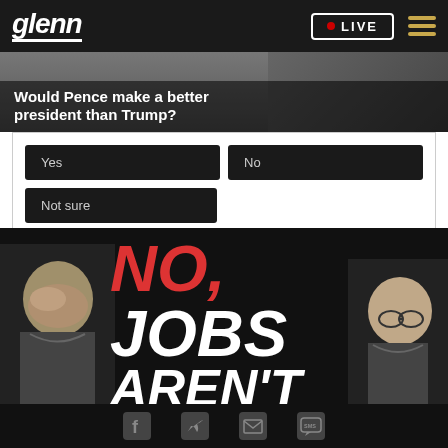glenn • LIVE
[Figure (screenshot): Poll widget: Would Pence make a better president than Trump? Options: Yes, No, Not sure. 17,797 Votes · Sponsored Ad]
Would Pence make a better president than Trump?
Yes
No
Not sure
17,797 Votes · Sponsored Ad
[Figure (photo): Banner image showing two people with large text overlay reading NO, JOBS AREN'T]
Social share icons: Facebook, Twitter, Email, SMS